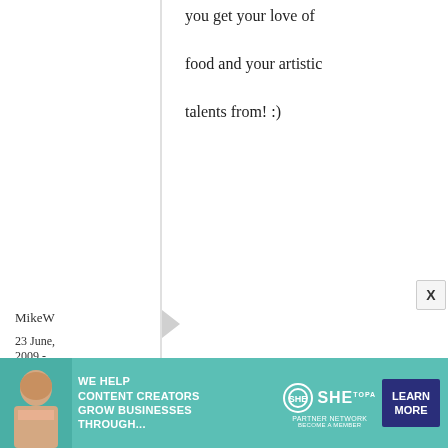you get your love of food and your artistic talents from! :)
MikeW
23 June, 2009 - 03:43
permalink
Re: Homemade Umeshu (plum wine) and Ume Hachimitsu Sour
[Figure (infographic): SHE Media advertisement banner: WE HELP CONTENT CREATORS GROW BUSINESSES THROUGH... SHE PARTNER NETWORK BECOME A MEMBER - LEARN MORE button]